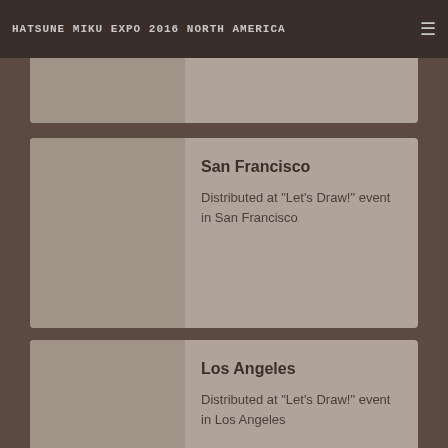HATSUNE MIKU EXPO 2016 NORTH AMERICA
Seattle
San Francisco
Distributed at "Let's Draw!" event in San Francisco
Los Angeles
Distributed at "Let's Draw!" event in Los Angeles